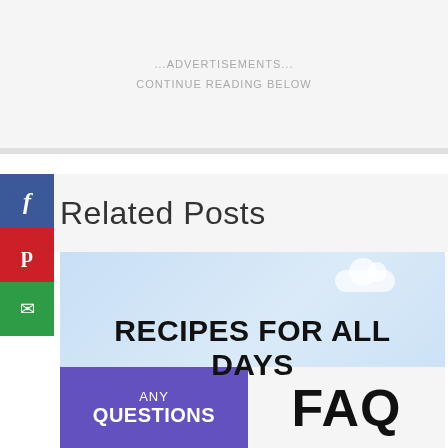...ADVERTISEMENTS...
CONTINUE READING BELOW
Related Posts
[Figure (illustration): Light blue card with bold text 'RECIPES FOR ALL DAYS' and cloud decorations]
[Figure (illustration): Purple card showing 'ANY QUESTIONS' text partially visible, and FAQ text on white section]